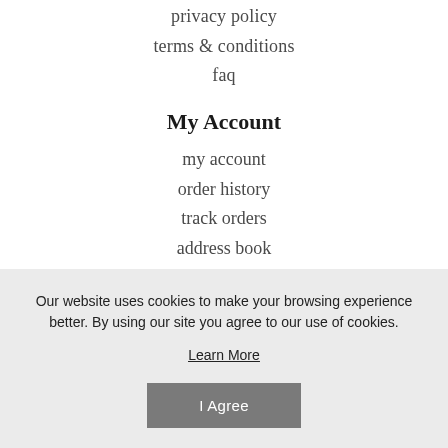privacy policy
terms & conditions
faq
My Account
my account
order history
track orders
address book
Our website uses cookies to make your browsing experience better. By using our site you agree to our use of cookies.
Learn More
I Agree